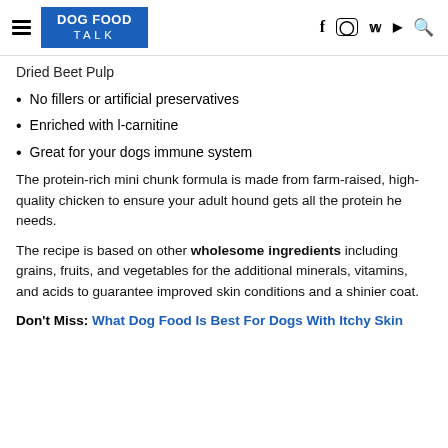DOG FOOD TALK — navigation with social icons
Dried Beet Pulp
No fillers or artificial preservatives
Enriched with l-carnitine
Great for your dogs immune system
The protein-rich mini chunk formula is made from farm-raised, high-quality chicken to ensure your adult hound gets all the protein he needs.
The recipe is based on other wholesome ingredients including grains, fruits, and vegetables for the additional minerals, vitamins, and acids to guarantee improved skin conditions and a shinier coat.
Don't Miss: What Dog Food Is Best For Dogs With Itchy Skin